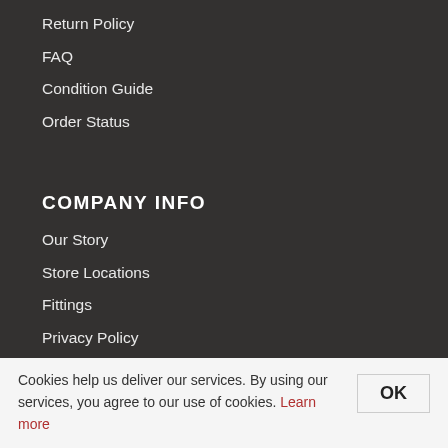Return Policy
FAQ
Condition Guide
Order Status
COMPANY INFO
Our Story
Store Locations
Fittings
Privacy Policy
CA Privacy Policy
Terms & Conditions
Careers Opportunities
Cookies help us deliver our services. By using our services, you agree to our use of cookies. Learn more
OK